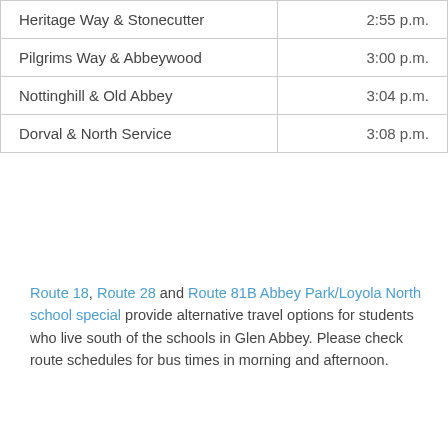| Stop | Time |
| --- | --- |
| Heritage Way & Stonecutter | 2:55 p.m. |
| Pilgrims Way & Abbeywood | 3:00 p.m. |
| Nottinghill & Old Abbey | 3:04 p.m. |
| Dorval & North Service | 3:08 p.m. |
Route 18, Route 28 and Route 81B Abbey Park/Loyola North school special provide alternative travel options for students who live south of the schools in Glen Abbey. Please check route schedules for bus times in morning and afternoon.
After hours drop-off service is provided from the Oakville GO station. Visit Late Night Service for details.
[Figure (illustration): PDF document icon inside a teal/blue circle, above the text 'Alternative Format']
Alternative Format